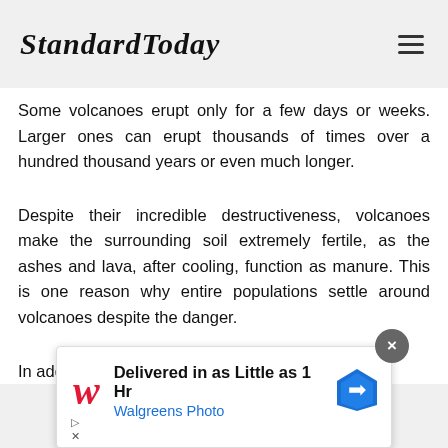StandardToday
Some volcanoes erupt only for a few days or weeks. Larger ones can erupt thousands of times over a hundred thousand years or even much longer.
Despite their incredible destructiveness, volcanoes make the surrounding soil extremely fertile, as the ashes and lava, after cooling, function as manure. This is one reason why entire populations settle around volcanoes despite the danger.
In addition, many volcanoes slowly pour
[Figure (other): Advertisement banner for Walgreens Photo: 'Delivered in as Little as 1 Hr' with Walgreens logo and a navigation/map icon. Close button (×) in upper right.]